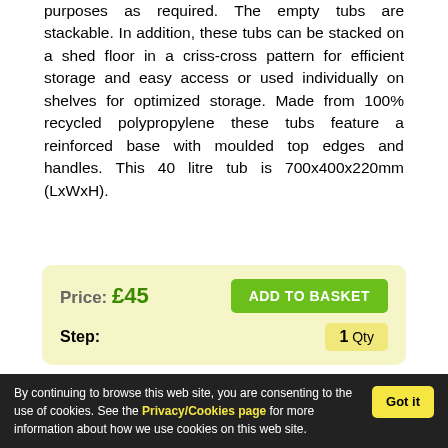purposes as required. The empty tubs are stackable. In addition, these tubs can be stacked on a shed floor in a criss-cross pattern for efficient storage and easy access or used individually on shelves for optimized storage. Made from 100% recycled polypropylene these tubs feature a reinforced base with moulded top edges and handles. This 40 litre tub is 700x400x220mm (LxWxH).
Price: £45  ADD TO BASKET  Step: 1 Qty
The prices include courier delivery in
By continuing to browse this web site, you are consenting to the use of cookies. See the Privacy/Cookies page for more information about how we use cookies on this web site.